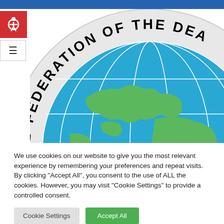[Figure (logo): World Federation of the Deaf logo — circular badge with globe (blue/green) and 'wfd' letters, text 'D FEDERATION OF THE DEA' visible around the arc]
We use cookies on our website to give you the most relevant experience by remembering your preferences and repeat visits. By clicking "Accept All", you consent to the use of ALL the cookies. However, you may visit "Cookie Settings" to provide a controlled consent.
Cookie Settings | Accept All